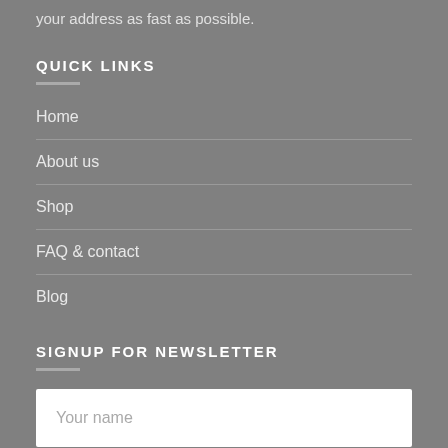your address as fast as possible.
QUICK LINKS
Home
About us
Shop
FAQ & contact
Blog
SIGNUP FOR NEWSLETTER
Your name